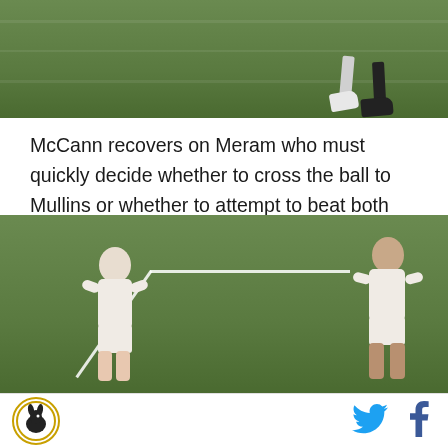[Figure (photo): Soccer/football field close-up showing players' legs and shoes on green turf]
McCann recovers on Meram who must quickly decide whether to cross the ball to Mullins or whether to attempt to beat both defenders off the dribble. Larentowicz had almost put his right arm behind his body but now he has moved it slightly out from his side.
[Figure (photo): Two soccer players in white jerseys crouching/defending on a green turf field with white boundary lines visible]
[Figure (logo): Circular logo with rabbit/duck silhouette and text border, gold/yellow outline]
[Figure (logo): Twitter bird icon in blue]
[Figure (logo): Facebook f icon in blue]